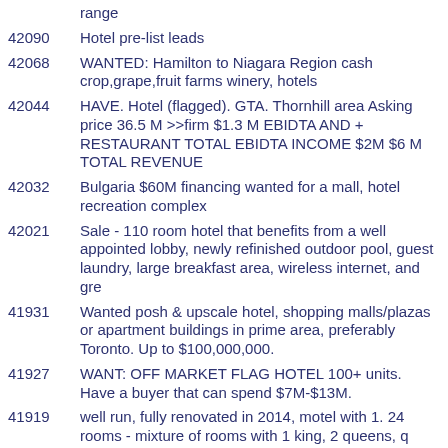range
42090  Hotel pre-list leads
42068  WANTED: Hamilton to Niagara Region cash crop,grape,fruit farms winery, hotels
42044  HAVE. Hotel (flagged). GTA. Thornhill area Asking price 36.5 M >>firm $1.3 M EBIDTA AND + RESTAURANT TOTAL EBIDTA INCOME $2M $6 M TOTAL REVENUE
42032  Bulgaria $60M financing wanted for a mall, hotel recreation complex
42021  Sale - 110 room hotel that benefits from a well appointed lobby, newly refinished outdoor pool, guest laundry, large breakfast area, wireless internet, and gre
41931  Wanted posh & upscale hotel, shopping malls/plazas or apartment buildings in prime area, preferably Toronto. Up to $100,000,000.
41927  WANT: OFF MARKET FLAG HOTEL 100+ units. Have a buyer that can spend $7M-$13M.
41919  well run, fully renovated in 2014, motel with 1. 24 rooms - mixture of rooms with 1 king, 2 queens, q doubles and 1 cabin. 2, 23 rooms Non smoking. 3, 1200